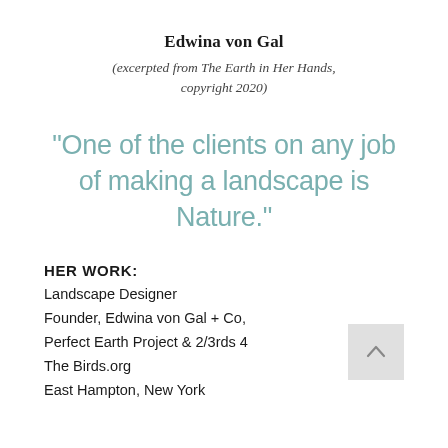Edwina von Gal
(excerpted from The Earth in Her Hands, copyright 2020)
“One of the clients on any job of making a landscape is Nature.”
HER WORK:
Landscape Designer
Founder, Edwina von Gal + Co,
Perfect Earth Project & 2/3rds 4 The Birds.org
East Hampton, New York